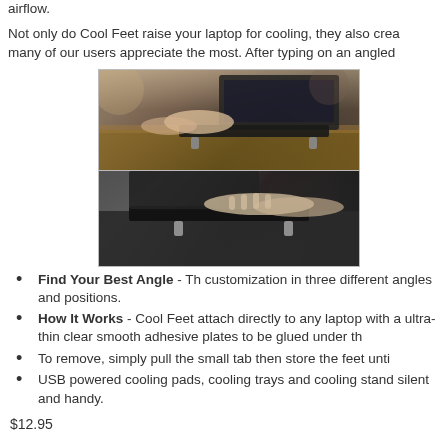airflow.
Not only do Cool Feet raise your laptop for cooling, they also crea many of our users appreciate the most. After typing on an angled
[Figure (photo): Two photos stacked vertically: top photo shows a person typing on a laptop elevated on Cool Feet stands on a wooden table outdoors; bottom photo shows hands typing on a laptop on lap, with Cool Feet stands visible underneath the laptop.]
Find Your Best Angle - Th customization in three different angles and positions.
How It Works - Cool Feet attach directly to any laptop with a ultra-thin clear smooth adhesive plates to be glued under th
To remove, simply pull the small tab then store the feet unti
USB powered cooling pads, cooling trays and cooling stand silent and handy.
$12.95